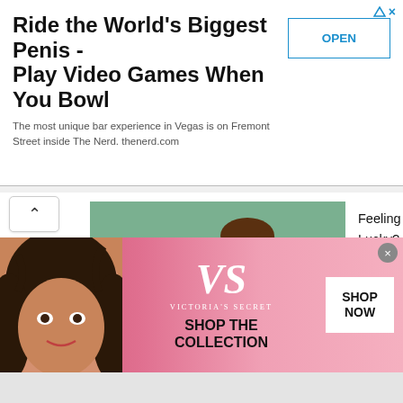[Figure (screenshot): Top advertisement banner: 'Ride the World's Biggest Penis - Play Video Games When You Bowl' with subtitle text and OPEN button]
[Figure (photo): Photo of a young man using a phone outdoors on a striped chair with a drink nearby]
Feeling Lucky? Shop Exciting Promos and Freebies at the OPPO 8.8 Brand Day Sale!
[Figure (screenshot): Shopee 9.9 Super Shopping Day promotional banner with orange background showing '9.9 SUPER SHOPPING DAY', 'MAS MURA SA SHOPEE', date AUG 26 - SEP 11]
This 9.9 Super Shopping Day, Shopee Delivers Bigger, More Rewarding Experiences for All Filipinos
[Figure (screenshot): Victoria's Secret advertisement banner with pink background, VS logo, 'SHOP THE COLLECTION' text, and 'SHOP NOW' button]